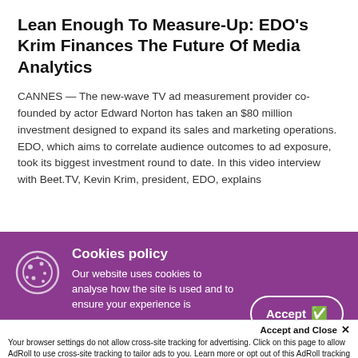Lean Enough To Measure-Up: EDO's Krim Finances The Future Of Media Analytics
CANNES — The new-wave TV ad measurement provider co-founded by actor Edward Norton has taken an $80 million investment designed to expand its sales and marketing operations. EDO, which aims to correlate audience outcomes to ad exposure, took its biggest investment round to date. In this video interview with Beet.TV, Kevin Krim, president, EDO, explains
[Figure (photo): Partial photo strip visible behind cookie banner]
Cookies policy
Our website uses cookies to analyse how the site is used and to ensure your experience is
Accept and Close ✕
Your browser settings do not allow cross-site tracking for advertising. Click on this page to allow AdRoll to use cross-site tracking to tailor ads to you. Learn more or opt out of this AdRoll tracking by clicking here. This message only appears once.